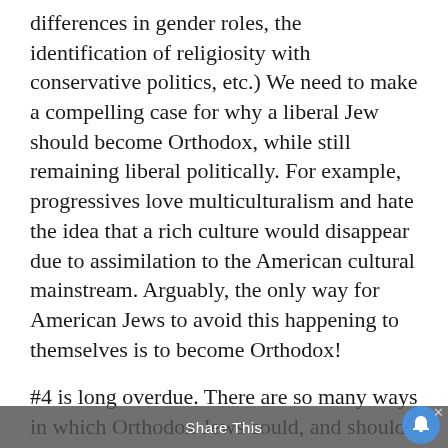differences in gender roles, the identification of religiosity with conservative politics, etc.) We need to make a compelling case for why a liberal Jew should become Orthodox, while still remaining liberal politically. For example, progressives love multiculturalism and hate the idea that a rich culture would disappear due to assimilation to the American cultural mainstream. Arguably, the only way for American Jews to avoid this happening to themselves is to become Orthodox!
#4 is long overdue. There are so many ways in which Orthodox Jews could, and should, be a light to the nations through practical activism. For example, the Noahide law to establish courts, and Yisro's advice to establish a more rational governance...
Share This